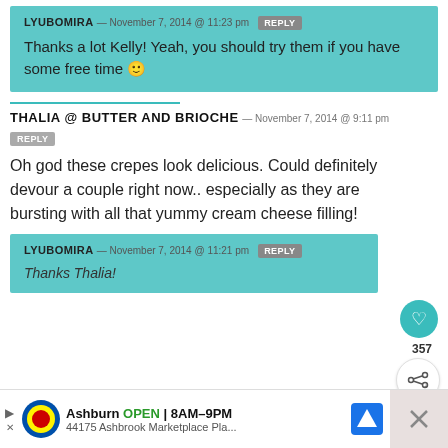LYUBOMIRA — November 7, 2014 @ 11:23 pm REPLY
Thanks a lot Kelly! Yeah, you should try them if you have some free time 🙂
THALIA @ BUTTER AND BRIOCHE — November 7, 2014 @ 9:11 pm
REPLY
Oh god these crepes look delicious. Could definitely devour a couple right now.. especially as they are bursting with all that yummy cream cheese filling!
LYUBOMIRA — November 7, 2014 @ 11:21 pm REPLY
[Figure (screenshot): Advertisement bar at bottom: Lidl store, Ashburn OPEN 8AM-9PM, 44175 Ashbrook Marketplace Pla...]